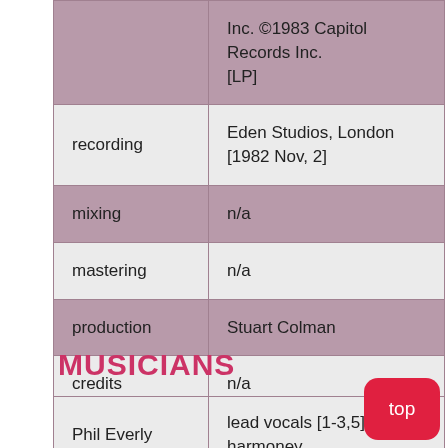| field | value |
| --- | --- |
|  | Inc. ©1983 Capitol Records Inc. [LP] |
| recording | Eden Studios, London [1982 Nov, 2] |
| mixing | n/a |
| mastering | n/a |
| production | Stuart Colman |
| credits | n/a |
MUSICIANS
| name | role |
| --- | --- |
| Phil Everly | lead vocals [1-3,5], harmoney vocals [2,3], lead harmony vocals [7] |